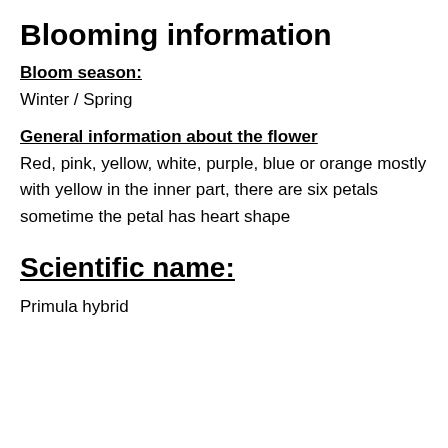Blooming information
Bloom season:
Winter / Spring
General information about the flower
Red, pink, yellow, white, purple, blue or orange mostly with yellow in the inner part, there are six petals sometime the petal has heart shape
Scientific name:
Primula hybrid